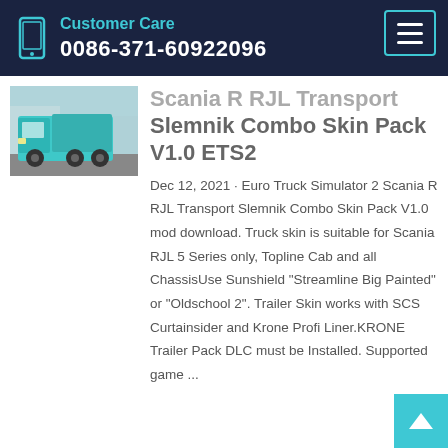Customer Care
0086-371-60922096
[Figure (photo): A cyan/teal dump truck (Scania or similar) parked on a street with buildings in background]
Scania R RJL Transport Slemnik Combo Skin Pack V1.0 ETS2
Dec 12, 2021 · Euro Truck Simulator 2 Scania R RJL Transport Slemnik Combo Skin Pack V1.0 mod download. Truck skin is suitable for Scania RJL 5 Series only, Topline Cab and all ChassisUse Sunshield "Streamline Big Painted" or "Oldschool 2". Trailer Skin works with SCS Curtainsider and Krone Profi Liner.KRONE Trailer Pack DLC must be Installed. Supported game ...